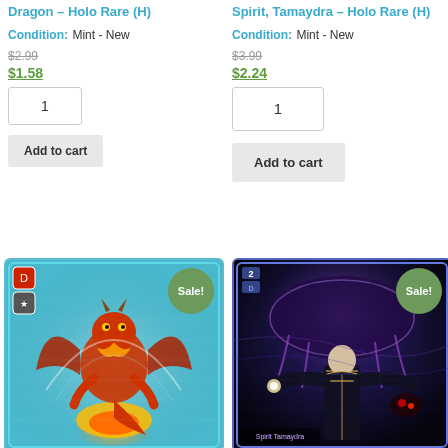Dragon – Holo Rare (H)
Condition: Mint - New
$2.99
$1.58
1
Add to cart
Spirit, Tamaydra – Holo Rare (H)
Condition: Mint - New
$3.99
$2.24
1
Add to cart
[Figure (photo): Holo Rare trading card featuring a fire dragon character with wings and flames, teal border, Sale! badge]
[Figure (photo): Holo Rare trading card featuring a dark robed character with large spirit/umbrella entity above, dark background, Sale! badge]